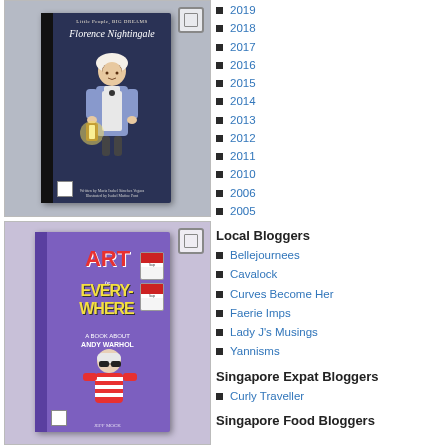[Figure (photo): Book cover of 'Florence Nightingale' from the Little People, BIG DREAMS series, dark navy blue cover with illustrated character holding a lantern]
[Figure (photo): Book cover of 'Art is Everywhere: A Book About Andy Warhol' by Jeff Mack, purple cover with colorful illustrated text and character]
2019
2018
2017
2016
2015
2014
2013
2012
2011
2010
2006
2005
Local Bloggers
Bellejournees
Cavalock
Curves Become Her
Faerie Imps
Lady J's Musings
Yannisms
Singapore Expat Bloggers
Curly Traveller
Singapore Food Bloggers